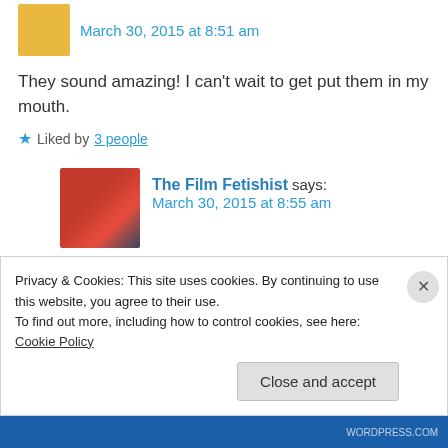March 30, 2015 at 8:51 am
They sound amazing! I can't wait to get put them in my mouth.
Liked by 3 people
The Film Fetishist says: March 30, 2015 at 8:55 am
Make sure you have plenty of napkins handy!
Liked by 2 people
Privacy & Cookies: This site uses cookies. By continuing to use this website, you agree to their use. To find out more, including how to control cookies, see here: Cookie Policy
Close and accept